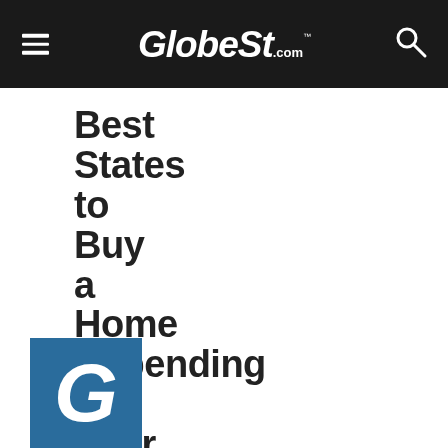GlobeSt.com
Best States to Buy a Home Depending on Your Profession
[Figure (logo): GlobeSt.com logo — large white italic 'G' on a steel-blue square background]